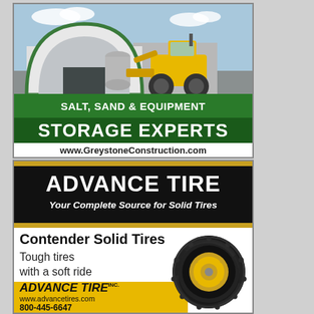[Figure (photo): Advertisement for Greystone Construction showing a large white arch storage building with a yellow front-end loader/wheel loader in front. Green banners overlay the bottom of the image reading 'SALT, SAND & EQUIPMENT' and 'STORAGE EXPERTS' with website www.GreystoneConstruction.com]
[Figure (photo): Advertisement for Advance Tire on black background with gold stripes. White text reads 'ADVANCE TIRE' and 'Your Complete Source for Solid Tires'. Below shows 'Contender Solid Tires - Tough tires with a soft ride' with an image of a solid industrial tire, yellow bar at bottom showing brand name, website www.advancetires.com and partial phone number 800-445-6647]